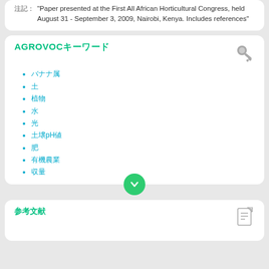注記: "Paper presented at the First All African Horticultural Congress, held August 31 - September 3, 2009, Nairobi, Kenya. Includes references"
AGROVOCキーワード
バナナ属
土
植物
水
光
土壌pH値
肥
有機農業
収量
参考文献